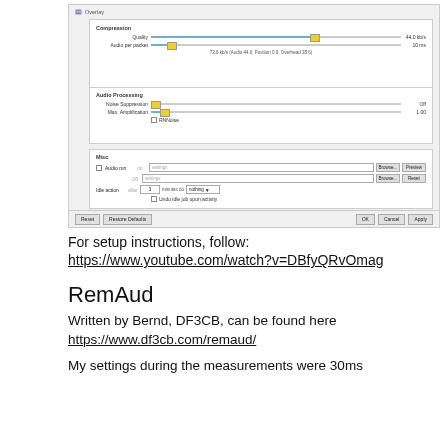[Figure (screenshot): Screenshot of an audio/overlay settings dialog with Compression, Audio Processing, and Misc sections, showing sliders for Quality (44.0 kb/s), Audio per packet (10 ms), Noise Suppression (Off), Max Amplification (1.00), and misc options. Bottom buttons: Reset, Restore Defaults, OK, Cancel, Apply.]
For setup instructions, follow:
https://www.youtube.com/watch?v=DBfyQRvOmag
RemAud
Written by Bernd, DF3CB, can be found here
https://www.df3cb.com/remaud/
My settings during the measurements were 30ms